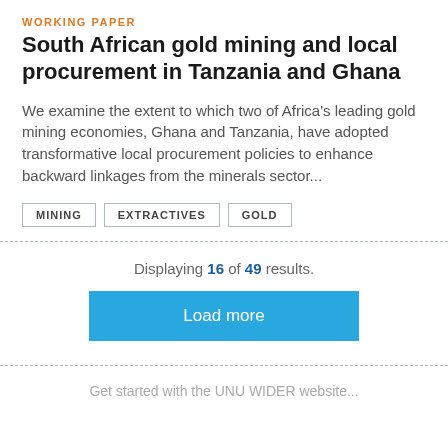WORKING PAPER
South African gold mining and local procurement in Tanzania and Ghana
We examine the extent to which two of Africa's leading gold mining economies, Ghana and Tanzania, have adopted transformative local procurement policies to enhance backward linkages from the minerals sector...
MINING
EXTRACTIVES
GOLD
Displaying 16 of 49 results.
Load more
Get started with the UNU WIDER website...